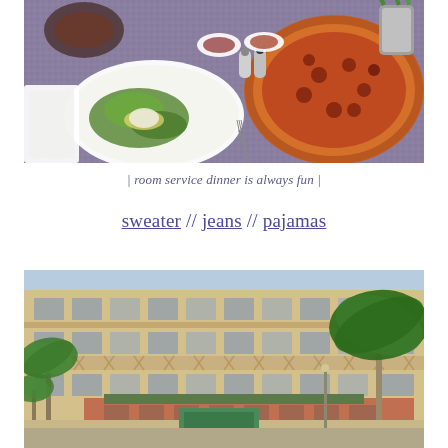[Figure (photo): Overhead view of a restaurant table with room service food: a salad, pizza, condiments, salt and pepper shakers on a purple/grey tablecloth]
| room service dinner is always fun |
sweater // jeans // pajamas
[Figure (photo): Exterior photo of a large hotel/casino building with tan/beige facade, multiple floors of windows, palm trees in foreground, smaller building with green rooftop below]